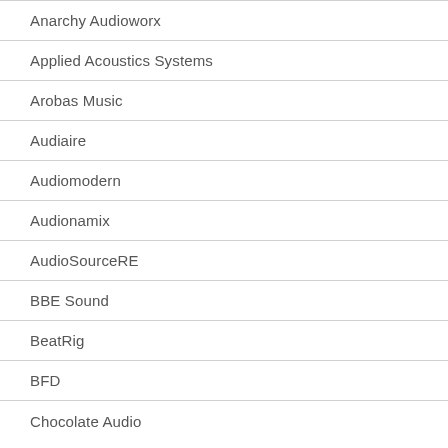Anarchy Audioworx
Applied Acoustics Systems
Arobas Music
Audiaire
Audiomodern
Audionamix
AudioSourceRE
BBE Sound
BeatRig
BFD
Chocolate Audio